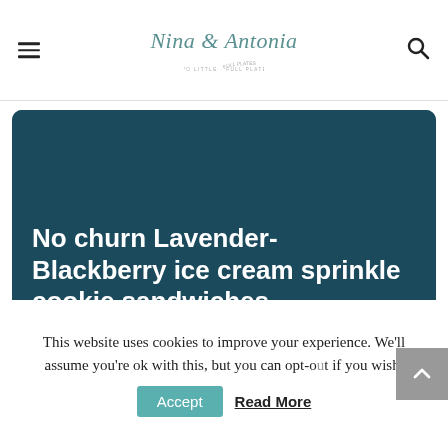Nina & Antonia
No churn Lavender- Blackberry ice cream sprinkle cookie sandwiches
This is a delicious easy recipe for a no churn ice cream made with Blackberries, dried lavender and homemade cocount condensed
This website uses cookies to improve your experience. We'll assume you're ok with this, but you can opt-out if you wish.
Accept    Read More